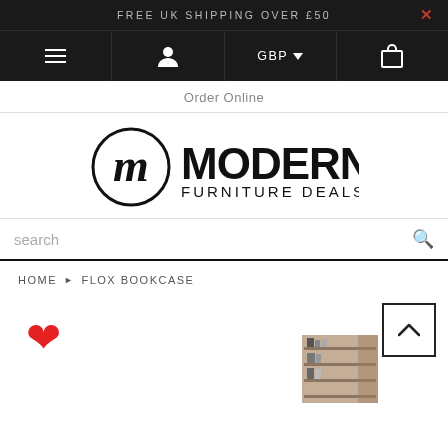FREE UK SHIPPING OVER £50
[Figure (screenshot): Navigation bar with hamburger menu, user icon, GBP currency selector, and bag icon on dark background]
Order Online
[Figure (logo): Modern Furniture Deals logo with circular m icon and bold MODERN FURNITURE DEALS text]
search
HOME > FLOX BOOKCASE
[Figure (illustration): Red heart icon (wishlist) and partial product thumbnail image of a bookcase on the right]